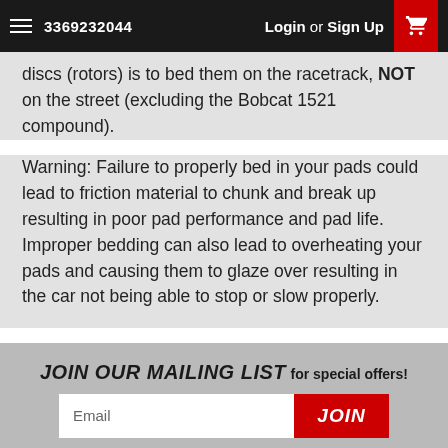3369232044   Login or Sign Up
discs (rotors) is to bed them on the racetrack, NOT on the street (excluding the Bobcat 1521 compound).
Warning: Failure to properly bed in your pads could lead to friction material to chunk and break up resulting in poor pad performance and pad life. Improper bedding can also lead to overheating your pads and causing them to glaze over resulting in the car not being able to stop or slow properly.
JOIN OUR MAILING LIST for special offers!
Contact Us
8331 Reynolda Rd